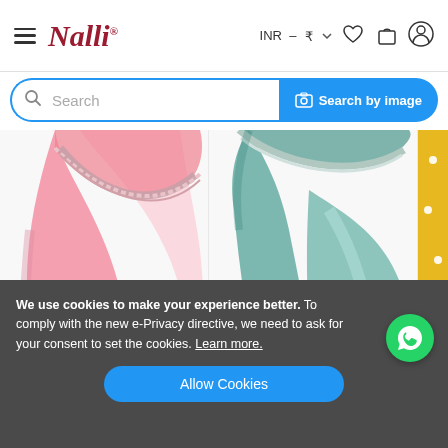[Figure (screenshot): Nalli website header with hamburger menu, Nalli script logo in red/maroon, INR currency selector, wishlist heart icon, cart bag icon, and user account icon]
[Figure (screenshot): Search bar with magnifying glass icon, placeholder text 'Search', and blue 'Search by image' button with camera icon]
[Figure (photo): Pink sheer saree with silver/golden border, draped fabric showing pallu and pleats on white background, product code ES0165350]
[Figure (photo): Teal/mint green satin saree with silver border, pleated drape on white background, product code ES0128099]
[Figure (photo): Yellow/golden saree with white dot pattern, partially visible at right edge, product code ES016...]
We use cookies to make your experience better. To comply with the new e-Privacy directive, we need to ask for your consent to set the cookies. Learn more.
Allow Cookies